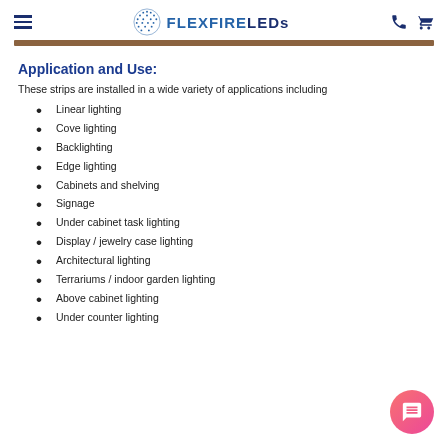FLEXFIRE LEDs
Application and Use:
These strips are installed in a wide variety of applications including
Linear lighting
Cove lighting
Backlighting
Edge lighting
Cabinets and shelving
Signage
Under cabinet task lighting
Display / jewelry case lighting
Architectural lighting
Terrariums / indoor garden lighting
Above cabinet lighting
Under counter lighting